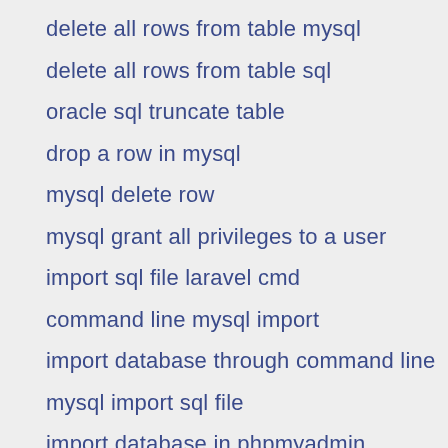delete all rows from table mysql
delete all rows from table sql
oracle sql truncate table
drop a row in mysql
mysql delete row
mysql grant all privileges to a user
import sql file laravel cmd
command line mysql import
import database through command line
mysql import sql file
import database in phpmyadmin command line
mysql insert database command line
how to import database in mysql by cmd
Java